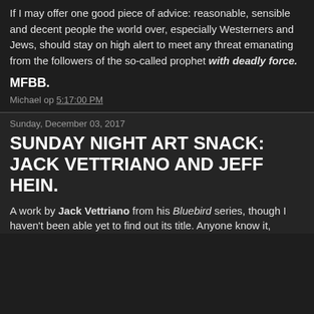If I may offer one good piece of advice: reasonable, sensible and decent people the world over, especially Westerners and Jews, should stay on high alert to meet any threat emanating from the followers of the so-called prophet with deadly force.
MFBB.
Michael op 5:17:00 PM
Sunday, December 03, 2017
SUNDAY NIGHT ART SNACK: JACK VETTRIANO AND JEFF HEIN.
A work by Jack Vettriano from his Bluebird series, though I haven't been able yet to find out its title. Anyone know it,